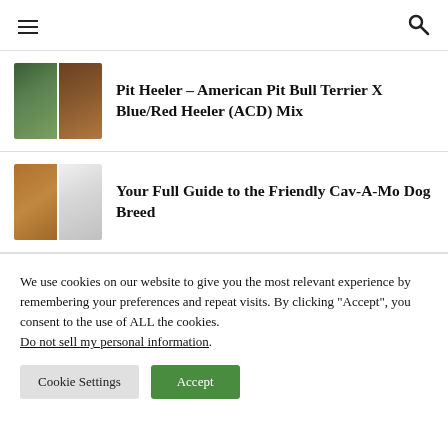Navigation bar with hamburger menu and search icon
Pit Heeler – American Pit Bull Terrier X Blue/Red Heeler (ACD) Mix
Your Full Guide to the Friendly Cav-A-Mo Dog Breed
We use cookies on our website to give you the most relevant experience by remembering your preferences and repeat visits. By clicking “Accept”, you consent to the use of ALL the cookies. Do not sell my personal information.